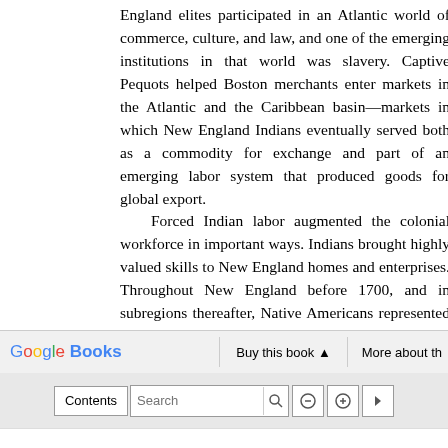England elites participated in an Atlantic world of commerce, culture, and law, and one of the emerging institutions in that world was slavery. Captive Pequots helped Boston merchants enter markets in the Atlantic and the Caribbean basin—markets in which New England Indians eventually served both as a commodity for exchange and part of an emerging labor system that produced goods for global export.
    Forced Indian labor augmented the colonial workforce in important ways. Indians brought highly valued skills to New England homes and enterprises. Throughout New England before 1700, and in subregions thereafter, Native Americans represented the dominant form of nonwhite labor. They toiled in ironworks, fisheries, livestock raising, extensive agriculture, provincial armies, and other enterprises that required unusually
[Figure (screenshot): Google Books interface toolbar showing logo, 'Buy this book' button with arrow, and 'More about th' text, followed by a search bar with Contents button, Search input, magnify/zoom icons, and navigation arrow.]